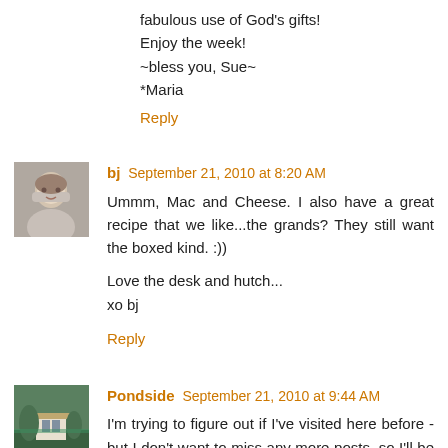fabulous use of God's gifts!
Enjoy the week!
~bless you, Sue~
*Maria
Reply
bj  September 21, 2010 at 8:20 AM
Ummm, Mac and Cheese. I also have a great recipe that we like...the grands? They still want the boxed kind. :))

Love the desk and hutch...
xo bj
Reply
Pondside  September 21, 2010 at 9:44 AM
I'm trying to figure out if I've visited here before - but I don't want to miss any more posts, so I'll be your newest follower.
I enjoyed this visit!